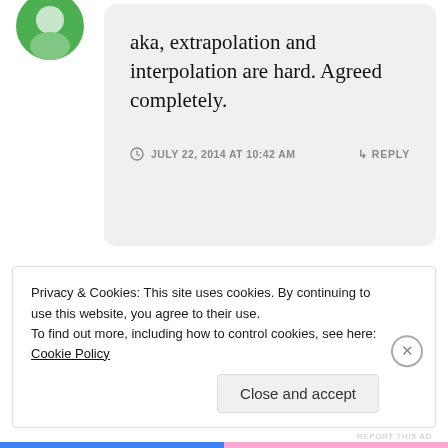[Figure (illustration): Circular avatar with green background, partially visible at top-left]
aka, extrapolation and interpolation are hard. Agreed completely.
JULY 22, 2014 AT 10:42 AM  ↳ REPLY
REPORT THIS AD
Privacy & Cookies: This site uses cookies. By continuing to use this website, you agree to their use.
To find out more, including how to control cookies, see here: Cookie Policy
Close and accept
REPORT THIS AD